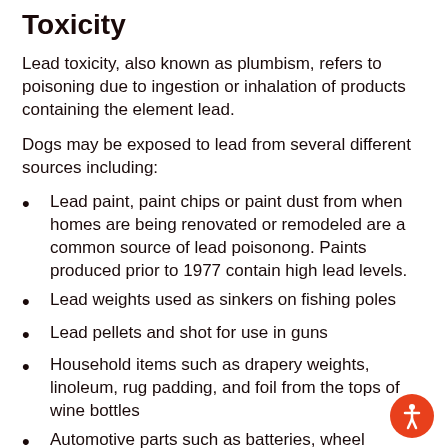Toxicity
Lead toxicity, also known as plumbism, refers to poisoning due to ingestion or inhalation of products containing the element lead.
Dogs may be exposed to lead from several different sources including:
Lead paint, paint chips or paint dust from when homes are being renovated or remodeled are a common source of lead poisonong. Paints produced prior to 1977 contain high lead levels.
Lead weights used as sinkers on fishing poles
Lead pellets and shot for use in guns
Household items such as drapery weights, linoleum, rug padding, and foil from the tops of wine bottles
Automotive parts such as batteries, wheel weights, leaded gasoline and discarded oil from cars using leaded gasoline
Construction materials such as solder, putty and